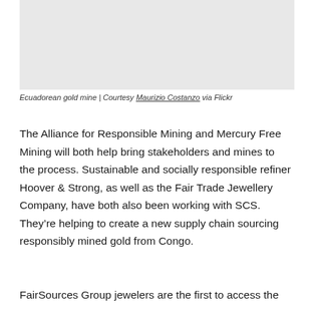[Figure (photo): Ecuadorean gold mine photograph, light gray placeholder]
Ecuadorean gold mine | Courtesy Maurizio Costanzo via Flickr
The Alliance for Responsible Mining and Mercury Free Mining will both help bring stakeholders and mines to the process. Sustainable and socially responsible refiner Hoover & Strong, as well as the Fair Trade Jewellery Company, have both also been working with SCS. They’re helping to create a new supply chain sourcing responsibly mined gold from Congo.
FairSources Group jewelers are the first to access the